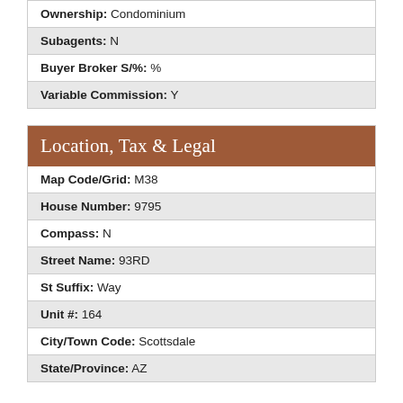| Ownership: Condominium |
| Subagents: N |
| Buyer Broker S/%: % |
| Variable Commission: Y |
Location, Tax & Legal
| Map Code/Grid: M38 |
| House Number: 9795 |
| Compass: N |
| Street Name: 93RD |
| St Suffix: Way |
| Unit #: 164 |
| City/Town Code: Scottsdale |
| State/Province: AZ |